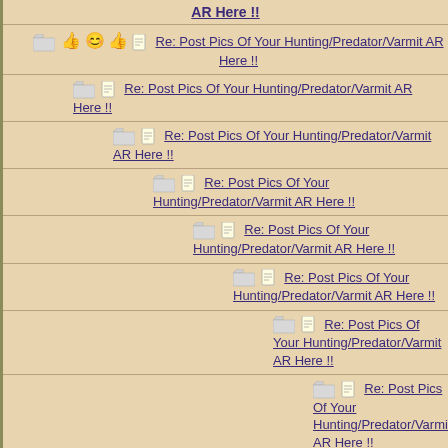AR Here !!
Re: Post Pics Of Your Hunting/Predator/Varmit AR Here !!
Re: Post Pics Of Your Hunting/Predator/Varmit AR Here !!
Re: Post Pics Of Your Hunting/Predator/Varmit AR Here !!
Re: Post Pics Of Your Hunting/Predator/Varmit AR Here !!
Re: Post Pics Of Your Hunting/Predator/Varmit AR Here !!
Re: Post Pics Of Your Hunting/Predator/Varmit AR Here !!
Re: Post Pics Of Your Hunting/Predator/Varmit AR Here !!
Re: Post Pics Of Your Hunting/Predator/Varmit AR Here !!
Re: Post Pics Of Your Hunting/Predator/Varmit AR Here !!
Re: Post Pics Of Your Hunting/Predator/Varmit AR Here !!
Re: Post Pics Of Your Hunting/Predator/Varmit AR Here !!